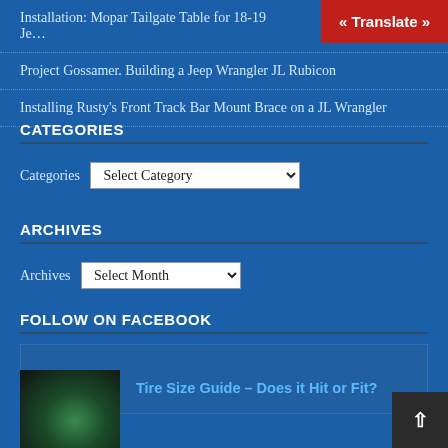Installation: Mopar Tailgate Table for 18-19 Je…
Project Gossamer. Building a Jeep Wrangler JL Rubicon
Installing Rusty's Front Track Bar Mount Brace on a JL Wrangler
« Translate »
CATEGORIES
Categories  Select Category
ARCHIVES
Archives  Select Month
FOLLOW ON FACEBOOK
[Figure (other): Facebook follow widget placeholder area]
Tire Size Guide – Does it Hit or Fit?
[Figure (photo): Thumbnail image of a tire on a vehicle]